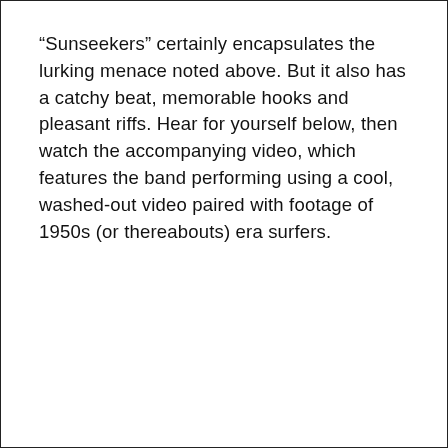“Sunseekers” certainly encapsulates the lurking menace noted above. But it also has a catchy beat, memorable hooks and pleasant riffs. Hear for yourself below, then watch the accompanying video, which features the band performing using a cool, washed-out video paired with footage of 1950s (or thereabouts) era surfers.